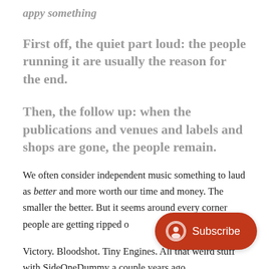appy something
First off, the quiet part loud: the people running it are usually the reason for the end.
Then, the follow up: when the publications and venues and labels and shops are gone, the people remain.
We often consider independent music something to laud as better and more worth our time and money. The smaller the better. But it seems around every corner people are getting ripped o[ff]
Victory. Bloodshot. Tiny Engines. All that weird stuff with SideOneDummy a couple years ago